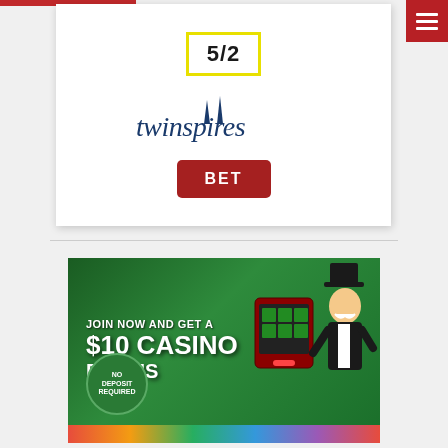[Figure (other): TwinSpires betting card with odds 5/2, TwinSpires logo, and red BET button]
[Figure (other): Casino advertisement banner: JOIN NOW AND GET A $10 CASINO BONUS, No Deposit Required, with Monopoly man and slot machine graphics]